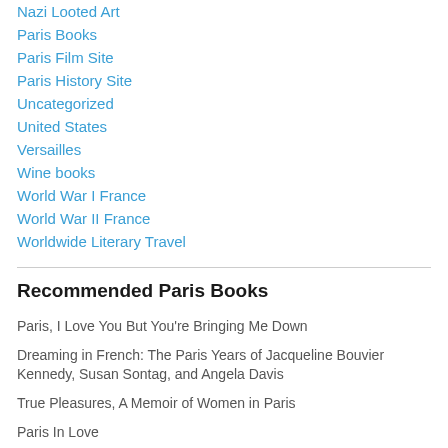Nazi Looted Art
Paris Books
Paris Film Site
Paris History Site
Uncategorized
United States
Versailles
Wine books
World War I France
World War II France
Worldwide Literary Travel
Recommended Paris Books
Paris, I Love You But You're Bringing Me Down
Dreaming in French: The Paris Years of Jacqueline Bouvier Kennedy, Susan Sontag, and Angela Davis
True Pleasures, A Memoir of Women in Paris
Paris In Love